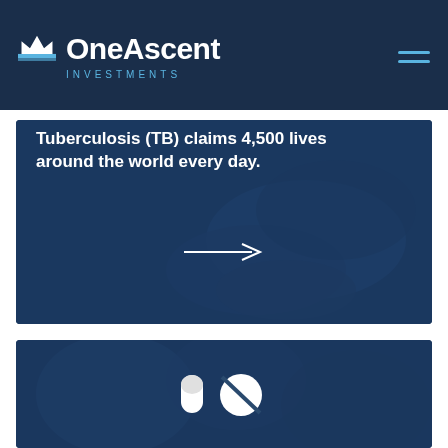OneAscent Investments
Tuberculosis (TB) claims 4,500 lives around the world every day.
[Figure (photo): Two hands clasping each other over a dark blue-toned background with a right arrow icon, associated with OneAscent Investments TB content card]
[Figure (photo): Dark blue-toned background with pill and no-symbol icons representing pharmaceutical/medicine theme for OneAscent Investments content card]